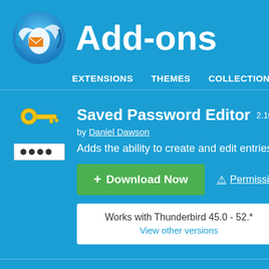Add-ons
EXTENSIONS   THEMES   COLLECTIONS   MORE...
Saved Password Editor 2.10.4 REQUIRES...
by Daniel Dawson
Adds the ability to create and edit entries in t
+ Download Now
⚠ Permissions
Works with Thunderbird 45.0 - 52.*
View other versions
Enjoy this add-on?
The developer of this add-on asks that you help support development by making a small contribution.